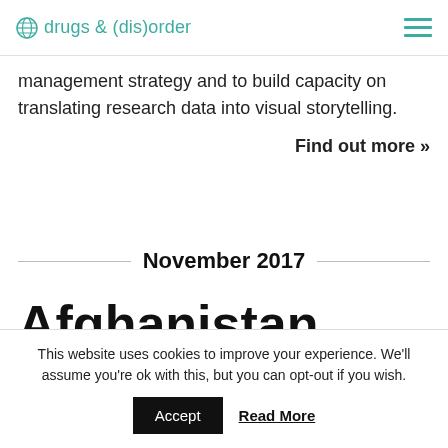drugs & (dis)order
management strategy and to build capacity on translating research data into visual storytelling.
Find out more »
November 2017
Afghanistan
This website uses cookies to improve your experience. We'll assume you're ok with this, but you can opt-out if you wish.
Accept  Read More